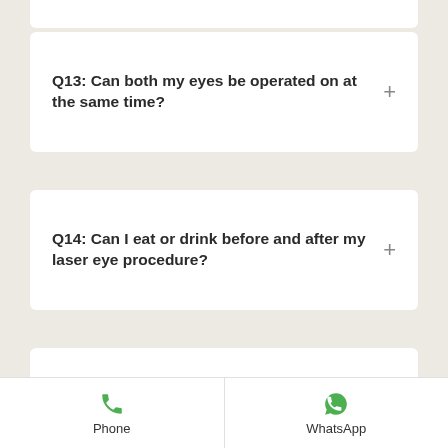Q13: Can both my eyes be operated on at the same time?
Q14: Can I eat or drink before and after my laser eye procedure?
Q15: Will it be better to have SMILE or LASIK in the hospital?
Phone   WhatsApp